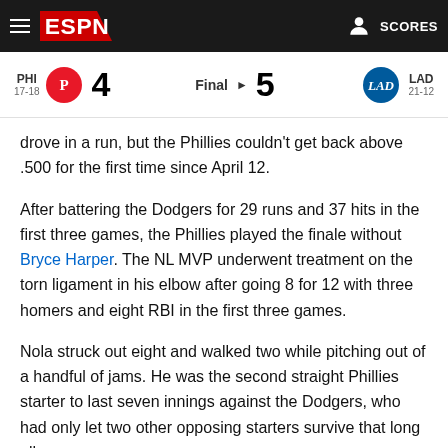ESPN — SCORES
| Team | Record | Score | Status | Score | Team | Record |
| --- | --- | --- | --- | --- | --- | --- |
| PHI | 17-18 | 4 | Final | 5 | LAD | 21-12 |
drove in a run, but the Phillies couldn't get back above .500 for the first time since April 12.
After battering the Dodgers for 29 runs and 37 hits in the first three games, the Phillies played the finale without Bryce Harper. The NL MVP underwent treatment on the torn ligament in his elbow after going 8 for 12 with three homers and eight RBI in the first three games.
Nola struck out eight and walked two while pitching out of a handful of jams. He was the second straight Phillies starter to last seven innings against the Dodgers, who had only let two other opposing starters survive that long all season.